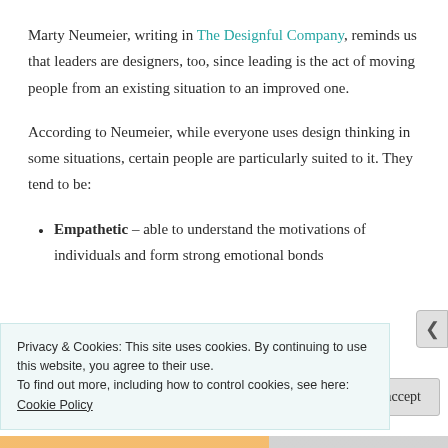Marty Neumeier, writing in The Designful Company, reminds us that leaders are designers, too, since leading is the act of moving people from an existing situation to an improved one.
According to Neumeier, while everyone uses design thinking in some situations, certain people are particularly suited to it. They tend to be:
Empathetic – able to understand the motivations of individuals and form strong emotional bonds
Privacy & Cookies: This site uses cookies. By continuing to use this website, you agree to their use. To find out more, including how to control cookies, see here: Cookie Policy
Close and accept